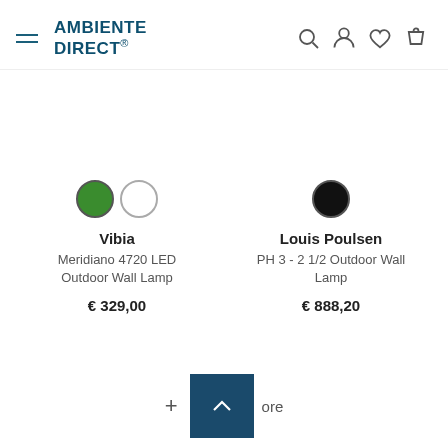AMBIENTE DIRECT®
Vibia
Meridiano 4720 LED Outdoor Wall Lamp
€ 329,00
Louis Poulsen
PH 3 - 2 1/2 Outdoor Wall Lamp
€ 888,20